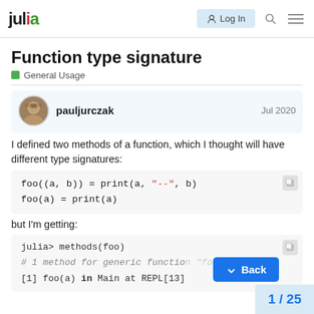julia — Log In
Function type signature
General Usage
pauljurczak   Jul 2020
I defined two methods of a function, which I thought will have different type signatures:
[Figure (screenshot): Code block: foo((a, b)) = print(a, "--", b)
foo(a) = print(a)]
but I'm getting:
[Figure (screenshot): REPL code block: julia> methods(foo)
# 1 method for generic function "foo":
[1] foo(a) in Main at REPL[13]]